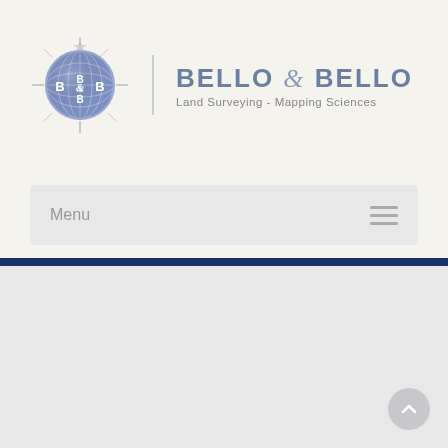[Figure (logo): Bello & Bello company logo: blue globe with compass rose and B&B text, alongside the company name and tagline]
Menu